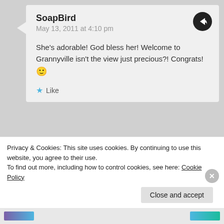SoapBird
May 13, 2011 at 4:10 pm
She's adorable! God bless her! Welcome to Grannyville isn't the view just precious?! Congrats! 🙂
Like
Piglet in Portugal
May 13, 2011 at 8:54 pm
Ha Ha Grannyville – I love it!
Privacy & Cookies: This site uses cookies. By continuing to use this website, you agree to their use.
To find out more, including how to control cookies, see here: Cookie Policy
Close and accept